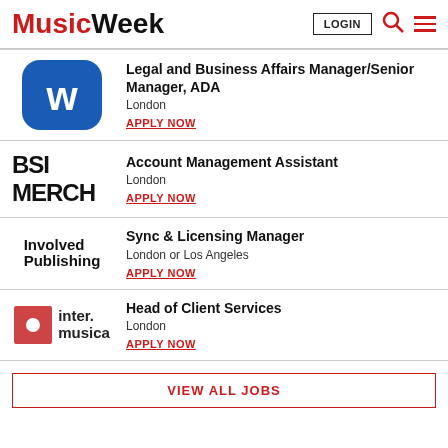Music Week — LOGIN — search — menu
Legal and Business Affairs Manager/Senior Manager, ADA — London — APPLY NOW
Account Management Assistant — London — APPLY NOW
Sync & Licensing Manager — London or Los Angeles — APPLY NOW
Head of Client Services — London — APPLY NOW
VIEW ALL JOBS